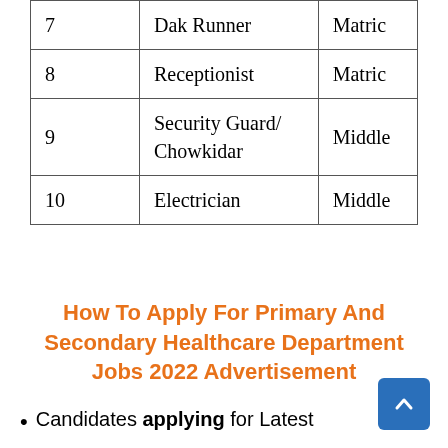| # | Position | Qualification |
| --- | --- | --- |
| 7 | Dak Runner | Matric |
| 8 | Receptionist | Matric |
| 9 | Security Guard/ Chowkidar | Middle |
| 10 | Electrician | Middle |
How To Apply For Primary And Secondary Healthcare Department Jobs 2022 Advertisement
Candidates applying for Latest